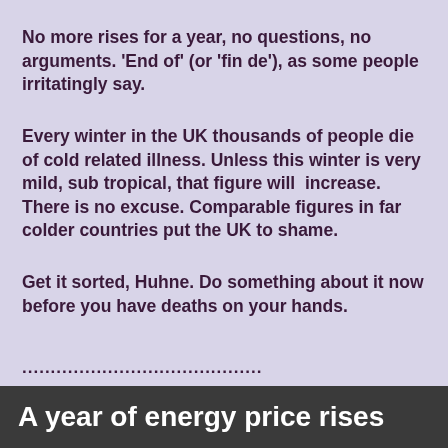No more rises for a year, no questions, no arguments. 'End of' (or 'fin de'), as some people irritatingly say.
Every winter in the UK thousands of people die of cold related illness. Unless this winter is very mild, sub tropical, that figure will  increase. There is no excuse. Comparable figures in far colder countries put the UK to shame.
Get it sorted, Huhne. Do something about it now before you have deaths on your hands.
..........................................
A year of energy price rises